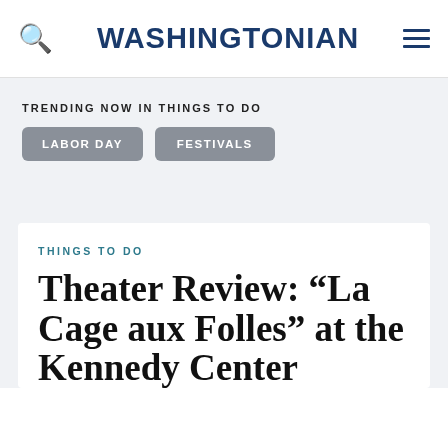WASHINGTONIAN
TRENDING NOW IN THINGS TO DO
LABOR DAY
FESTIVALS
THINGS TO DO
Theater Review: “La Cage aux Folles” at the Kennedy Center